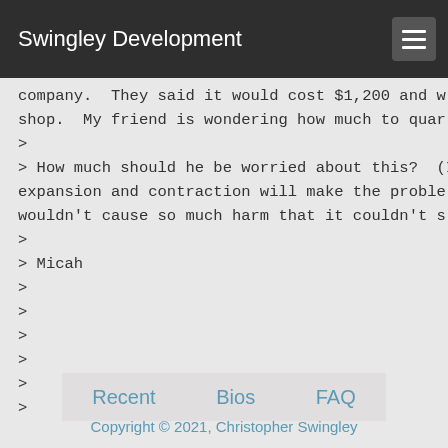Swingley Development
company.  They said it would cost $1,200 and w...
shop.  My friend is wondering how much to quar...
>
> How much should he be worried about this?  (I...
expansion and contraction will make the proble...
wouldn't cause so much harm that it couldn't st...
>
> Micah
>
>
>
>
>
>
Recent   Bios   FAQ
Copyright © 2021, Christopher Swingley